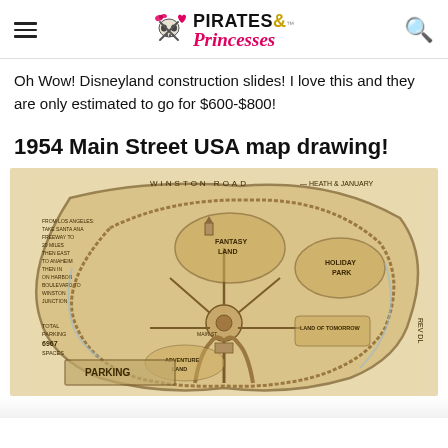Pirates & Princesses™
Oh Wow! Disneyland construction slides! I love this and they are only estimated to go for $600-$800!
1954 Main Street USA map drawing!
[Figure (map): Vintage 1954 hand-drawn map of Disneyland / Main Street USA showing park layout including Fantasy Land, Holiday Park, Parking area, and road directions from Los Angeles via Santa Ana Freeway. Features Winston Road at the top, various land areas, and a hub-and-spoke layout of the park.]